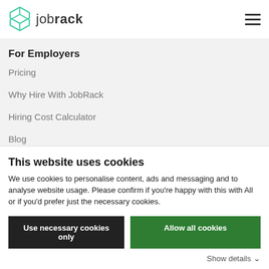jobrack
For Employers
Pricing
Why Hire With JobRack
Hiring Cost Calculator
Blog
For Jobseekers
Sign up
Blog
This website uses cookies
We use cookies to personalise content, ads and messaging and to analyse website usage. Please confirm if you're happy with this with All or if you'd prefer just the necessary cookies.
Use necessary cookies only
Allow all cookies
Show details